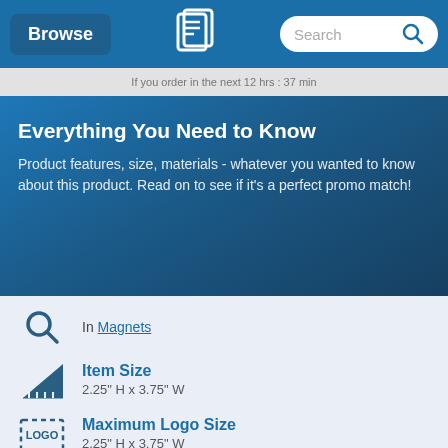Browse | [Logo] | Search
If you order in the next 12 hrs : 37 min
Everything You Need to Know
Product features, size, materials - whatever you wanted to know about this product. Read on to see if it's a perfect promo match!
In Magnets
Item Size
2.25" H x 3.75" W
Maximum Logo Size
2.25" H x 3.75" W